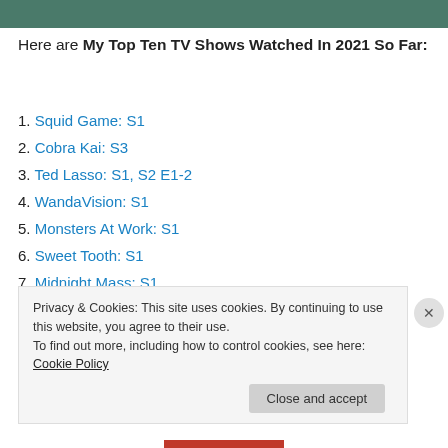[Figure (photo): Top banner image showing a dark teal/green background scene]
Here are My Top Ten TV Shows Watched In 2021 So Far:
1. Squid Game: S1
2. Cobra Kai: S3
3. Ted Lasso: S1, S2 E1-2
4. WandaVision: S1
5. Monsters At Work: S1
6. Sweet Tooth: S1
7. Midnight Mass: S1
Privacy & Cookies: This site uses cookies. By continuing to use this website, you agree to their use. To find out more, including how to control cookies, see here: Cookie Policy Close and accept